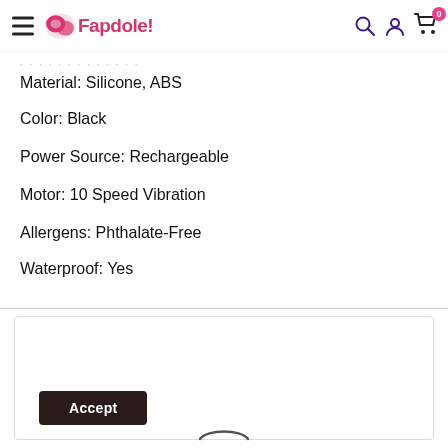Fapdole! [navigation header with logo, hamburger menu, search, account, and cart icons]
Material: Silicone, ABS
Color: Black
Power Source: Rechargeable
Motor: 10 Speed Vibration
Allergens: Phthalate-Free
Waterproof: Yes
Accept